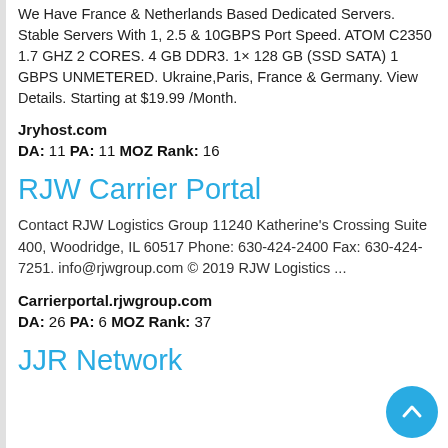We Have France & Netherlands Based Dedicated Servers. Stable Servers With 1, 2.5 & 10GBPS Port Speed. ATOM C2350 1.7 GHZ 2 CORES. 4 GB DDR3. 1× 128 GB (SSD SATA) 1 GBPS UNMETERED. Ukraine,Paris, France & Germany. View Details. Starting at $19.99 /Month.
Jryhost.com
DA: 11 PA: 11 MOZ Rank: 16
RJW Carrier Portal
Contact RJW Logistics Group 11240 Katherine's Crossing Suite 400, Woodridge, IL 60517 Phone: 630-424-2400 Fax: 630-424-7251. info@rjwgroup.com © 2019 RJW Logistics ...
Carrierportal.rjwgroup.com
DA: 26 PA: 6 MOZ Rank: 37
JJR Network